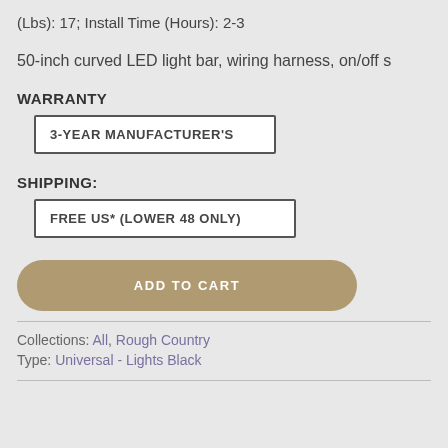(Lbs): 17; Install Time (Hours): 2-3
50-inch curved LED light bar, wiring harness, on/off s
WARRANTY
3-YEAR MANUFACTURER'S
SHIPPING:
FREE US* (LOWER 48 ONLY)
ADD TO CART
Collections: All, Rough Country
Type: Universal - Lights Black